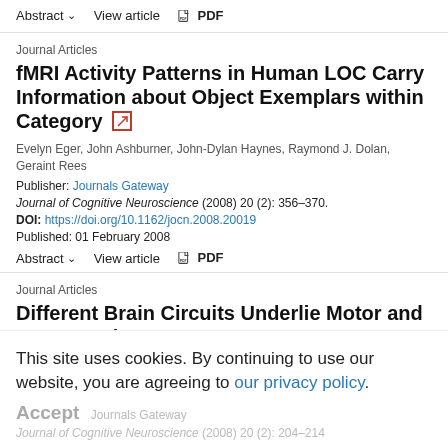Abstract ∨   View article   PDF
Journal Articles
fMRI Activity Patterns in Human LOC Carry Information about Object Exemplars within Category
Evelyn Eger, John Ashburner, John-Dylan Haynes, Raymond J. Dolan, Geraint Rees
Publisher: Journals Gateway
Journal of Cognitive Neuroscience (2008) 20 (2): 356–370.
DOI: https://doi.org/10.1162/jocn.2008.20019
Published: 01 February 2008
Abstract ∨   View article   PDF
Journal Articles
Different Brain Circuits Underlie Motor and Perceptual
Representations of Temporal Intervals
This site uses cookies. By continuing to use our website, you are agreeing to our privacy policy.
Accept
Journals Gateway
Journal of Cognitive Neuroscience (2008) 20 (2): 204–214